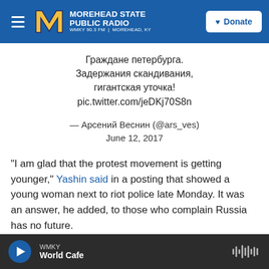MOREHEAD STATE PUBLIC RADIO | WMKY 90.3 FM | MOREHEAD, KY | Donate
Граждане петербурга. Задержания скандивания, гигантская уточка! pic.twitter.com/jeDKj70S8n
— Арсений Веснин (@ars_ves) June 12, 2017
"I am glad that the protest movement is getting younger," Yashin said in a posting that showed a young woman next to riot police late Monday. It was an answer, he added, to those who complain Russia has no future.
WMKY | World Cafe